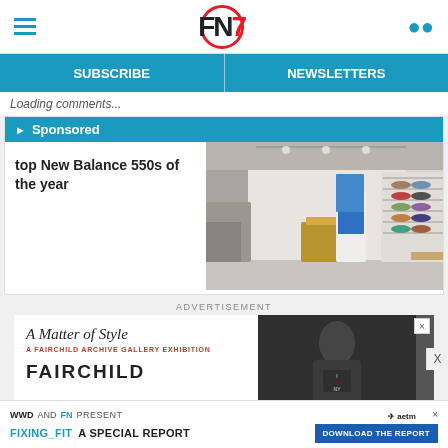FN7 (Footwear News logo)
SUBSCRIBE | NEWSLETTERS
Loading comments...
Sponsored
top New Balance 550s of the year
[Figure (photo): Interior of a sneaker/shoe retail store with shelving units displaying shoes along the walls and a wooden counter]
ADVERTISEMENT
[Figure (screenshot): Advertisement for 'A Matter of Style — A Fairchild Archive Gallery Exhibition' by Fairchild, with black and white photo of person wearing I Love NY shirt]
WWD AND FN PRESENT FIXING_FIT A SPECIAL REPORT DOWNLOAD THE REPORT